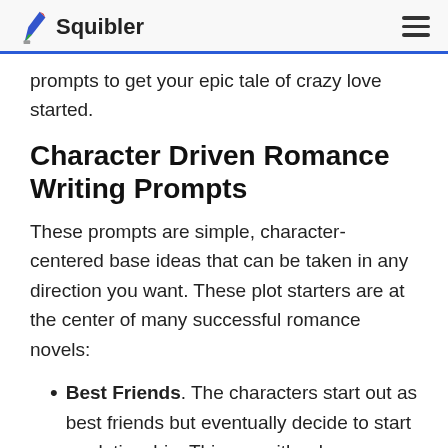Squibler
prompts to get your epic tale of crazy love started.
Character Driven Romance Writing Prompts
These prompts are simple, character-centered base ideas that can be taken in any direction you want. These plot starters are at the center of many successful romance novels:
Best Friends. The characters start out as best friends but eventually decide to start a relationship. This can either be a happily ever